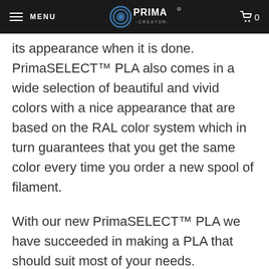MENU | PRIMA CREATOR | 0
its appearance when it is done. PrimaSELECT™ PLA also comes in a wide selection of beautiful and vivid colors with a nice appearance that are based on the RAL color system which in turn guarantees that you get the same color every time you order a new spool of filament.
With our new PrimaSELECT™ PLA we have succeeded in making a PLA that should suit most of your needs. PrimaSELECT™ PLA is a so called modified PLA and is about 12 times stronger than ordinary PLA, this is due to